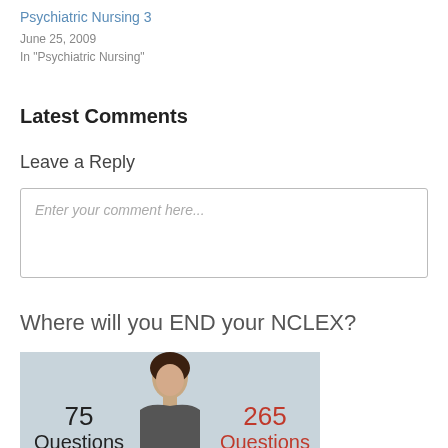Psychiatric Nursing 3
June 25, 2009
In "Psychiatric Nursing"
Latest Comments
Leave a Reply
Enter your comment here...
Where will you END your NCLEX?
[Figure (photo): Advertisement image showing a woman with text '75 Questions' on left and '265 Questions' in red on right, against a light blue-grey background]